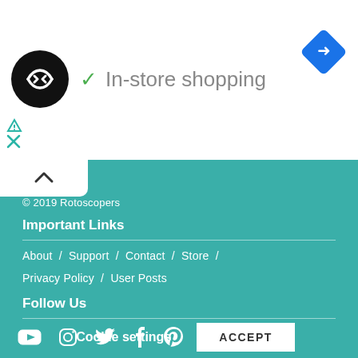In-store shopping
© 2019 Rotoscopers
Important Links
About / Support / Contact / Store / Privacy Policy / User Posts
Follow Us
[Figure (illustration): Social media icons: YouTube, Instagram, Twitter, Facebook, Pinterest]
This website uses cookies to improve your experience. We'll assume you're ok with this, but you can opt-out if you wish.
Cookie settings   ACCEPT